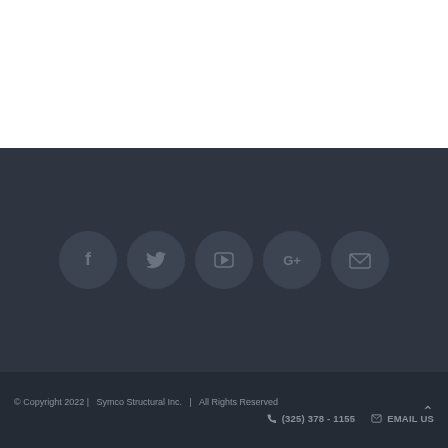[Figure (other): Social media icons row: Facebook, Twitter, YouTube, Google+, Email — each in a dark circular button on dark background]
© Copyright 2022 |   Symco Structural Inc.   |   All Rights Reserved
(325) 378 - 1155  EMAIL US